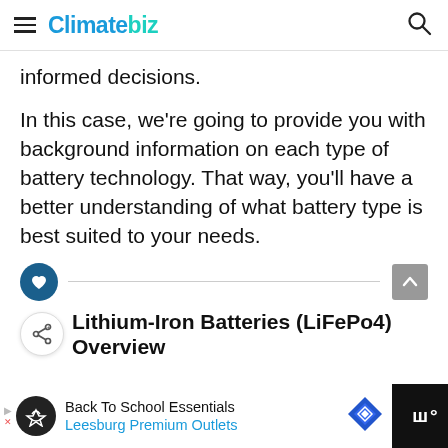Climatebiz
informed decisions.
In this case, we're going to provide you with background information on each type of battery technology. That way, you'll have a better understanding of what battery type is best suited to your needs.
Lithium-Iron Batteries (LiFePo4) Overview
Back To School Essentials Leesburg Premium Outlets